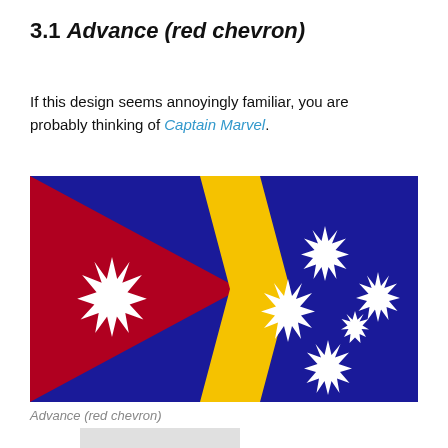3.1 Advance (red chevron)
If this design seems annoyingly familiar, you are probably thinking of Captain Marvel.
[Figure (illustration): Flag design called 'Advance (red chevron)': left portion is crimson/dark red with a white 9-pointed star; a yellow chevron points right in the center; right portion is dark blue with white stars of the Southern Cross constellation.]
Advance (red chevron)